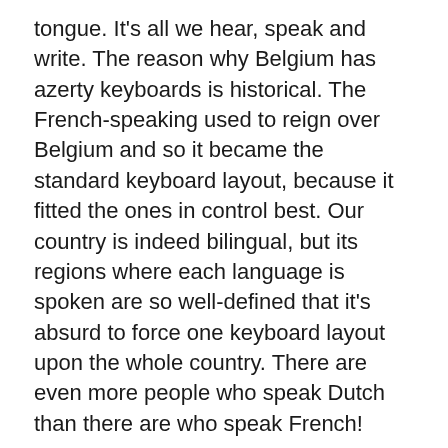tongue. It's all we hear, speak and write. The reason why Belgium has azerty keyboards is historical. The French-speaking used to reign over Belgium and so it became the standard keyboard layout, because it fitted the ones in control best. Our country is indeed bilingual, but its regions where each language is spoken are so well-defined that it's absurd to force one keyboard layout upon the whole country. There are even more people who speak Dutch than there are who speak French!
The less-populated southern part of Belgium speaks French, they benefit from having azerty keyboards, but not many people in Flanders speak French well enough (let alone need to write in French a lot) to warrant the optimized-for-French azerty keyboard layout, the country wide standard, while all they'll ever do is type in Dutch or English. English is far better known among young flemish people than French these days.